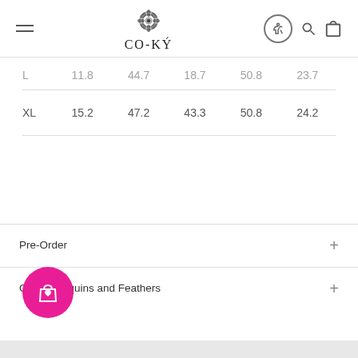CO-KÝ navigation header with logo, hamburger menu, accessibility icon, search, and cart
| Size | Col1 | Col2 | Col3 | Col4 | Col5 |
| --- | --- | --- | --- | --- | --- |
| L | 11.8 | 44.7 | 18.7 | 50.8 | 23.7 |
| XL | 15.2 | 47.2 | 43.3 | 50.8 | 24.2 |
Pre-Order
CARE: Sequins and Feathers